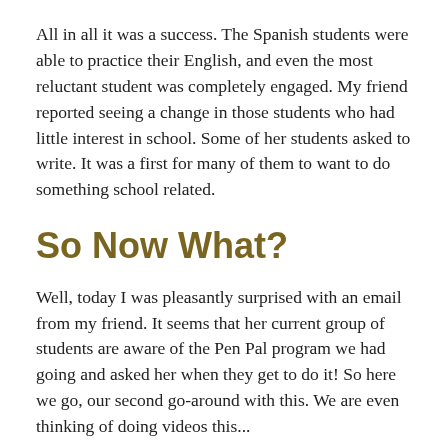All in all it was a success. The Spanish students were able to practice their English, and even the most reluctant student was completely engaged. My friend reported seeing a change in those students who had little interest in school. Some of her students asked to write. It was a first for many of them to want to do something school related.
So Now What?
Well, today I was pleasantly surprised with an email from my friend. It seems that her current group of students are aware of the Pen Pal program we had going and asked her when they get to do it! So here we go, our second go-around with this. We are even thinking of doing videos this...